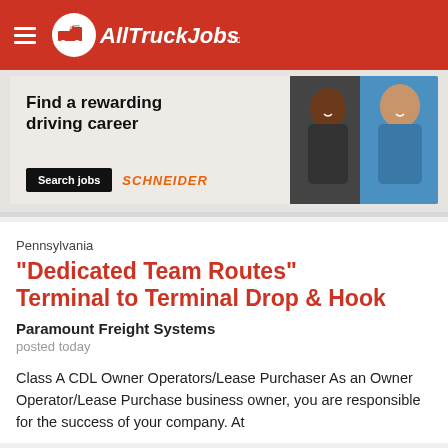AllTruckJobs.com
[Figure (illustration): Schneider advertisement banner: 'Find a rewarding driving career' with Search jobs button and two people smiling]
Pennsylvania
"Dedicated Team Routes" Terminal to Terminal Drop & Hook
Paramount Freight Systems
posted today
Class A CDL Owner Operators/Lease Purchaser As an Owner Operator/Lease Purchase business owner, you are responsible for the success of your company. At